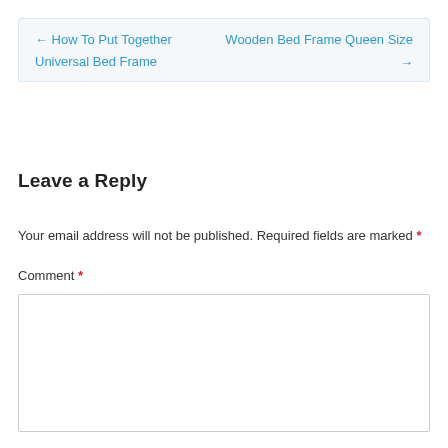← How To Put Together Universal Bed Frame    Wooden Bed Frame Queen Size →
Leave a Reply
Your email address will not be published. Required fields are marked *
Comment *